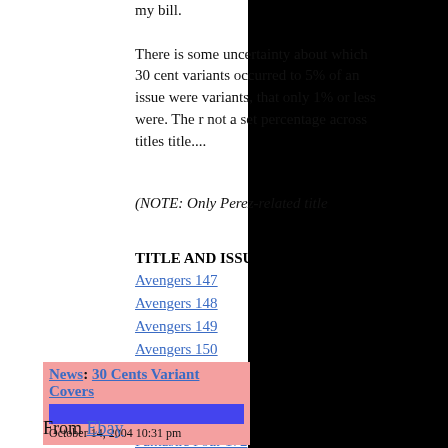There is some uncertainty about which 30 cent variants occurred to 5% of an issue were variants, that only 1% or less were. The r not a set percentage across titles title....
(NOTE: Only Perez-related title
| TITLE AND ISSUE | COVER |
| --- | --- |
| Avengers 147 | May |
| Avengers 148 | June |
| Avengers 149 | July |
| Avengers 150 | August |
| Inhumans 4 | April |
| Fantastic Four 170 | May |
| Fantastic Four 171 | June |
| Fantastic Four 172 | July |
News: 30 Cents Variant Covers
October 14, 2004 10:31 pm
From Ebay